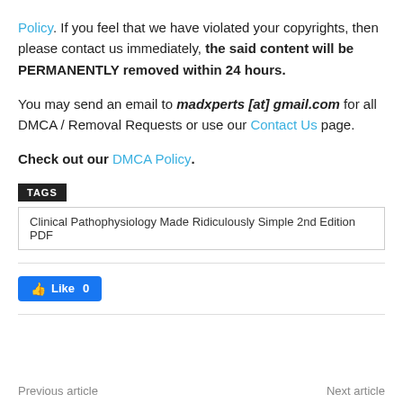Policy. If you feel that we have violated your copyrights, then please contact us immediately, the said content will be PERMANENTLY removed within 24 hours.
You may send an email to madxperts [at] gmail.com for all DMCA / Removal Requests or use our Contact Us page.
Check out our DMCA Policy.
TAGS
Clinical Pathophysiology Made Ridiculously Simple 2nd Edition PDF
Like 0
Previous article
Next article